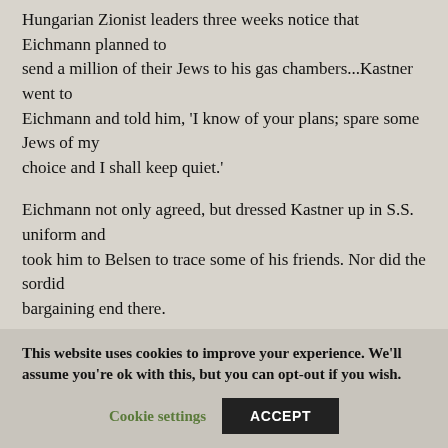Hungarian Zionist leaders three weeks notice that Eichmann planned to send a million of their Jews to his gas chambers...Kastner went to Eichmann and told him, 'I know of your plans; spare some Jews of my choice and I shall keep quiet.'
Eichmann not only agreed, but dressed Kastner up in S.S. uniform and took him to Belsen to trace some of his friends. Nor did the sordid bargaining end there.
This website uses cookies to improve your experience. We'll assume you're ok with this, but you can opt-out if you wish.
Cookie settings | ACCEPT